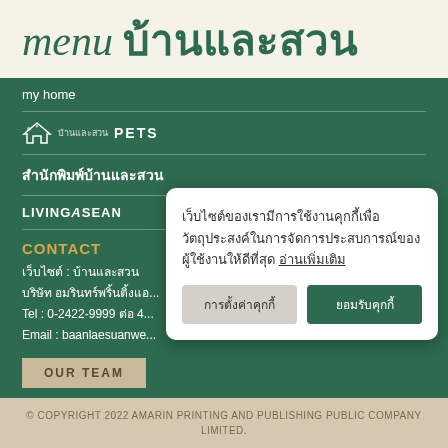menu บ้านและสวน
my home
[Figure (logo): Baan Lae Suan Pets logo with house icon and text PETS]
สำนักพิมพ์บ้านและสวน
LIVINGASEAN
CONTACT
เว็บไซต์ : บ้านและสวน
บริษัท อมรินทร์พริ้นติ้งแอ...
Tel : 0-2422-9999 ต่อ 4...
Email : baanlaesuanwe...
เว็บไซต์ของเราใช้งานคุกกี้เพื่อวัตถุประสงค์ในการจัดการประสบการณ์ของผู้ใช้งานให้ดีที่สุด อ่านเพิ่มเติม
การตั้งค่าคุกกี้
ยอมรับคุกกี้
OUR TEAM
© COPYRIGHT 2022 AMARIN PRINTING AND PUBLISHING PUBLIC COMPANY LIMITED.